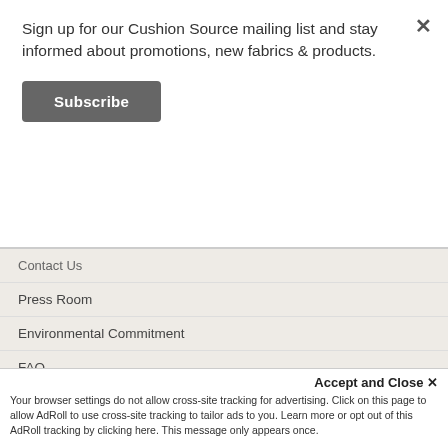Sign up for our Cushion Source mailing list and stay informed about promotions, new fabrics & products.
Subscribe
Contact Us
Press Room
Environmental Commitment
FAQ
Desktop Site
+ Site Information
[Figure (other): Social media icons row: Facebook, Pinterest, Instagram, Twitter, YouTube, Houzz]
[Figure (other): Payment icons row: Visa, Mastercard, American Express, Discover, PayPal]
Accept and Close ✕
Your browser settings do not allow cross-site tracking for advertising. Click on this page to allow AdRoll to use cross-site tracking to tailor ads to you. Learn more or opt out of this AdRoll tracking by clicking here. This message only appears once.